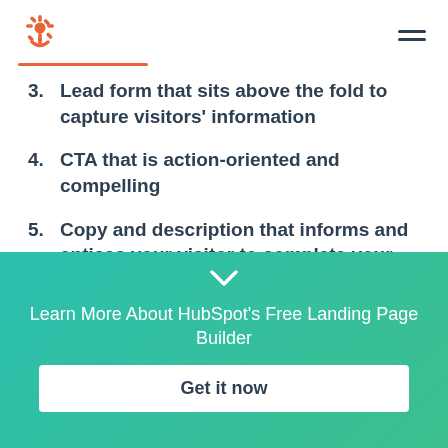HubSpot logo and navigation menu
3. Lead form that sits above the fold to capture visitors' information
4. CTA that is action-oriented and compelling
5. Copy and description that informs and entices your visitor to complete your form
Learn More About HubSpot's Free Landing Page Builder
Get it now